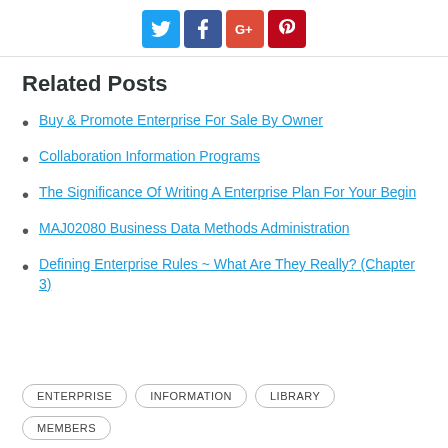[Figure (other): Social sharing buttons: Twitter (blue), Facebook (dark blue), Google+ (red), Pinterest (red)]
Related Posts
Buy & Promote Enterprise For Sale By Owner
Collaboration Information Programs
The Significance Of Writing A Enterprise Plan For Your Begin
MAJ02080 Business Data Methods Administration
Defining Enterprise Rules ~ What Are They Really? (Chapter 3)
ENTERPRISE  INFORMATION  LIBRARY  MEMBERS